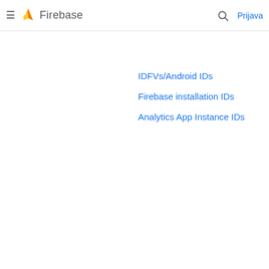Firebase — Prijava
IDFVs/Android IDs
Firebase installation IDs
Analytics App Instance IDs